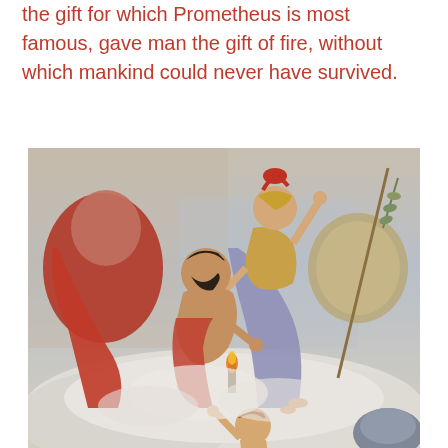the gift for which Prometheus is most famous, gave man the gift of fire, without which mankind could never have survived.
[Figure (photo): Classical painting depicting mythological figures including Prometheus and Athena among clouds. Athena is shown in golden armor with a helmet and shield, a bearded male figure (Prometheus) crouches beside her, with other figures visible including a red-cloaked figure and a young man reaching upward in the lower portion.]